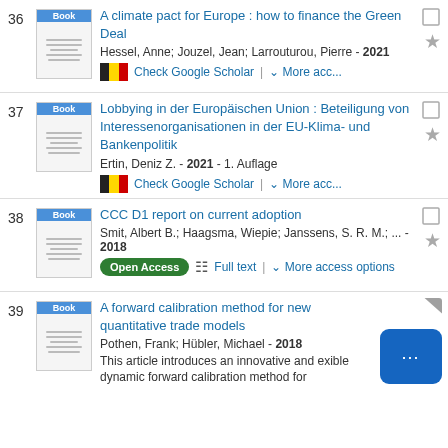36 A climate pact for Europe : how to finance the Green Deal
Hessel, Anne; Jouzel, Jean; Larrouturou, Pierre - 2021
Check Google Scholar | More acc...
37 Lobbying in der Europäischen Union : Beteiligung von Interessenorganisationen in der EU-Klima- und Bankenpolitik
Ertin, Deniz Z. - 2021 - 1. Auflage
Check Google Scholar | More acc...
38 CCC D1 report on current adoption
Smit, Albert B.; Haagsma, Wiepie; Janssens, S. R. M.; ... - 2018
Open Access | Full text | More access options
39 A forward calibration method for new quantitative trade models
Pothen, Frank; Hübler, Michael - 2018
This article introduces an innovative and exible dynamic forward calibration method for